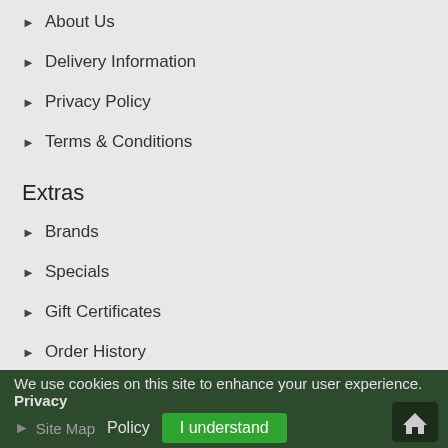About Us
Delivery Information
Privacy Policy
Terms & Conditions
Extras
Brands
Specials
Gift Certificates
Order History
Customer Service
Contact Us
We use cookies on this site to enhance your user experience. Privacy Policy
Site Map